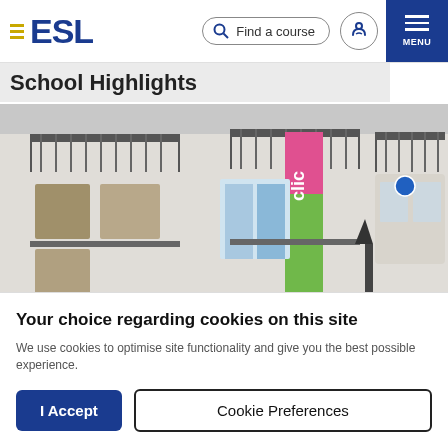ESL — Find a course — MENU
School Highlights
[Figure (photo): Exterior of a European-style white building with balconies and a colorful CLIC banner (pink and green) hanging on the facade. The building has ornate white stonework and blue windows.]
Your choice regarding cookies on this site
We use cookies to optimise site functionality and give you the best possible experience.
I Accept
Cookie Preferences